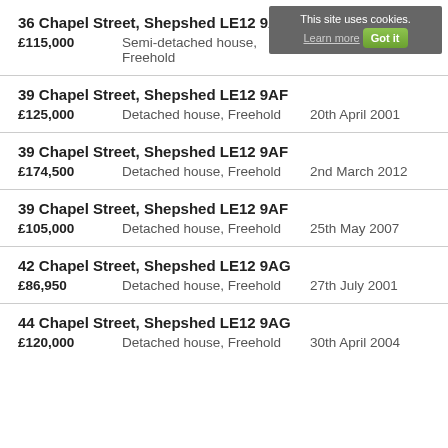This site uses cookies. Learn more Got it
36 Chapel Street, Shepshed LE12 9AG
£115,000   Semi-detached house, Freehold   11th July 2000
39 Chapel Street, Shepshed LE12 9AF
£125,000   Detached house, Freehold   20th April 2001
39 Chapel Street, Shepshed LE12 9AF
£174,500   Detached house, Freehold   2nd March 2012
39 Chapel Street, Shepshed LE12 9AF
£105,000   Detached house, Freehold   25th May 2007
42 Chapel Street, Shepshed LE12 9AG
£86,950   Detached house, Freehold   27th July 2001
44 Chapel Street, Shepshed LE12 9AG
£120,000   Detached house, Freehold   30th April 2004